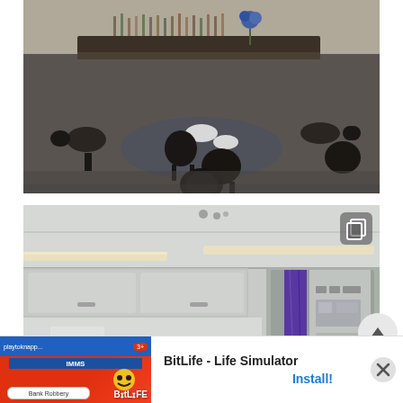[Figure (photo): Interior of an airport lounge or hotel bar with dark furniture, round tables, padded chairs, a long bar counter in the background with bottles and blue flowers, reflective marble/granite floor, and a circular rug area in the center.]
[Figure (photo): Interior of an airplane cabin showing the overhead ceiling panels with lighting strips, overhead bins, and a crew area/galley with purple curtain visible in the background.]
[Figure (other): Advertisement banner for BitLife - Life Simulator app. Shows ad label, colorful app icon/screenshot on left (red background with BItLife branding), and text 'BitLife - Life Simulator' with 'Install!' button on right, with an X close button.]